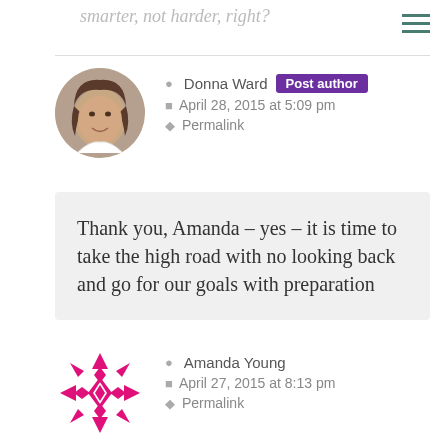smarter, not harder, right?
Donna Ward  Post author
April 28, 2015 at 5:09 pm
Permalink
Thank you, Amanda – yes – it is time to take the high road with no looking back and go for our goals with preparation
Amanda Young
April 27, 2015 at 8:13 pm
Permalink